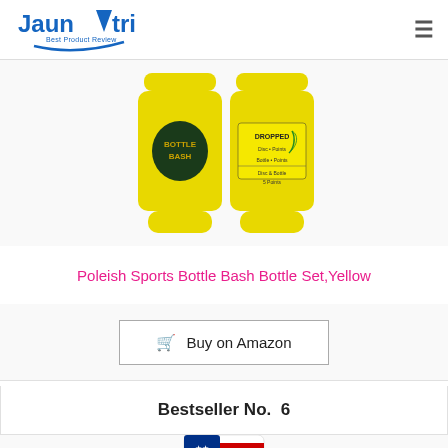Jaunatri Best Product Review
[Figure (photo): Two yellow Poleish Sports Bottle Bash bottles side by side — one with a dark circular label reading 'BOTTLE BASH', the other with a yellow label reading 'DROPPED']
Poleish Sports Bottle Bash Bottle Set,Yellow
Buy on Amazon
Bestseller No. 6
[Figure (photo): Partial view of a product with USA flag design and text 'SOFT TOSS • USA']